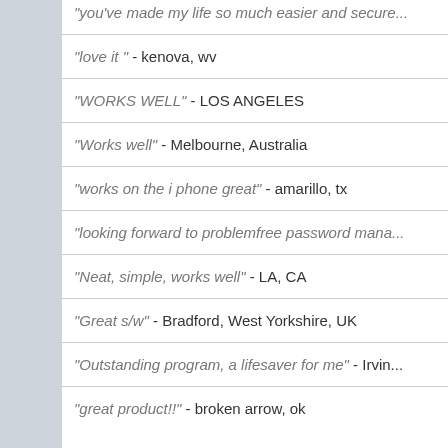"you've made my life so much easier and secure..."
"love it " - kenova, wv
"WORKS WELL" - LOS ANGELES
"Works well" - Melbourne, Australia
"works on the i phone great" - amarillo, tx
"looking forward to problemfree password mana..."
"Neat, simple, works well" - LA, CA
"Great s/w" - Bradford, West Yorkshire, UK
"Outstanding program, a lifesaver for me" - Irvine...
"great product!!" - broken arrow, ok